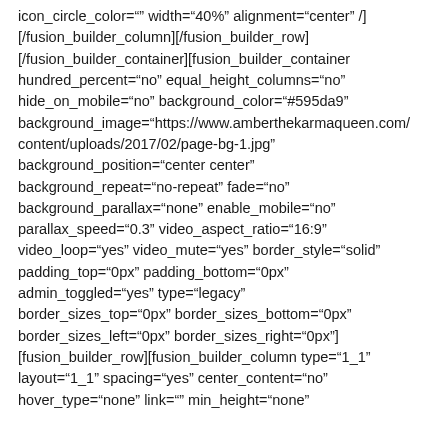icon_circle_color="" width="40%" alignment="center" /][/fusion_builder_column][/fusion_builder_row][/fusion_builder_container][fusion_builder_container hundred_percent="no" equal_height_columns="no" hide_on_mobile="no" background_color="#595da9" background_image="https://www.amberthekarmaqueen.com/content/uploads/2017/02/page-bg-1.jpg" background_position="center center" background_repeat="no-repeat" fade="no" background_parallax="none" enable_mobile="no" parallax_speed="0.3" video_aspect_ratio="16:9" video_loop="yes" video_mute="yes" border_style="solid" padding_top="0px" padding_bottom="0px" admin_toggled="yes" type="legacy" border_sizes_top="0px" border_sizes_bottom="0px" border_sizes_left="0px" border_sizes_right="0px"][fusion_builder_row][fusion_builder_column type="1_1" layout="1_1" spacing="yes" center_content="no" hover_type="none" link="" min_height="none"